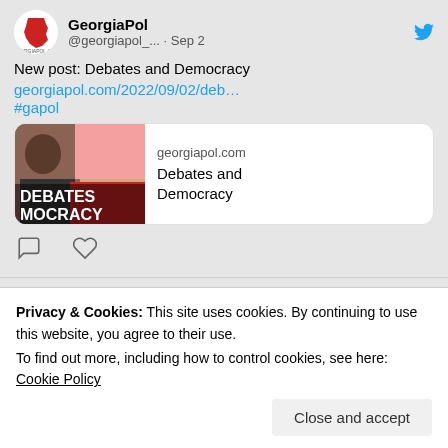[Figure (screenshot): GeorgiaPol Twitter/social media feed screenshot showing two tweets and a cookie consent banner.]
GeorgiaPol @georgiapol_... · Sep 2
New post: Debates and Democracy georgiapol.com/2022/09/02/deb… #gapol
georgiapol.com Debates and Democracy
GeorgiaPol @georgiapol_... · Sep 1
Privacy & Cookies: This site uses cookies. By continuing to use this website, you agree to their use.
To find out more, including how to control cookies, see here: Cookie Policy
Close and accept